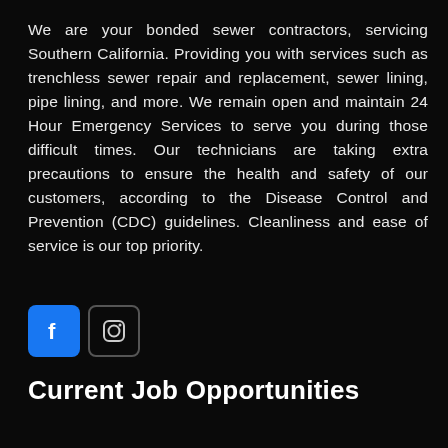We are your bonded sewer contractors, servicing Southern California. Providing you with services such as trenchless sewer repair and replacement, sewer lining, pipe lining, and more. We remain open and maintain 24 Hour Emergency Services to serve you during those difficult times. Our technicians are taking extra precautions to ensure the health and safety of our customers, according to the Disease Control and Prevention (CDC) guidelines. Cleanliness and ease of service is our top priority.
[Figure (other): Social media icons: Facebook (blue square with 'f' logo) and Instagram (square with camera outline icon)]
Current Job Opportunities